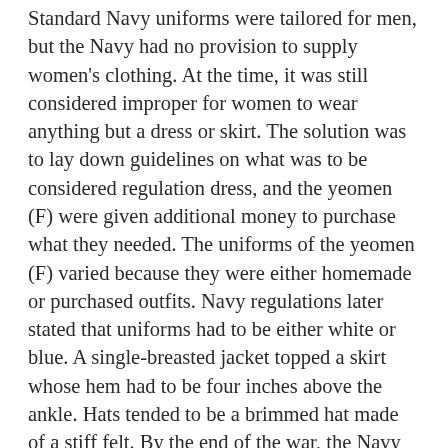Standard Navy uniforms were tailored for men, but the Navy had no provision to supply women's clothing. At the time, it was still considered improper for women to wear anything but a dress or skirt. The solution was to lay down guidelines on what was to be considered regulation dress, and the yeomen (F) were given additional money to purchase what they needed. The uniforms of the yeomen (F) varied because they were either homemade or purchased outfits. Navy regulations later stated that uniforms had to be either white or blue. A single-breasted jacket topped a skirt whose hem had to be four inches above the ankle. Hats tended to be a brimmed hat made of a stiff felt. By the end of the war, the Navy had made changes to the regulations that governed gloves, hats, jackets, skirts, and handkerchiefs.
The yeomen (F) enlisted for the standard four years. Days before the signing of the Armistice in November 1918, the Navy stopped enrolling women but made no decision on what to do with women already in service. It was assumed they would finish their enlistments, and for some that period would end in 1922.